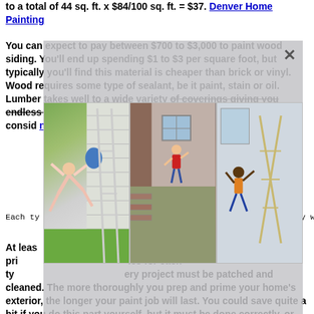to a total of 44 sq. ft. x $84/100 sq. ft. = $37. Denver Home Painting
You can expect to pay between $700 to $3,000 to paint wood siding. You'll end up spending $1 to $3 per square foot, but typically you'll find this material is cheaper than brick or vinyl. Wood requires some type of sealant, be it paint, stain or oil. Lumber takes well to a wide variety of coverings giving you endless options for modern... [images overlay] ...ings to consid... [link] ...nting
[Figure (photo): Three photos in a row overlaid on text: (1) person falling/posing near a ladder against a house with vinyl siding, (2) person in red jacket climbing up a house exterior, (3) person in orange shirt falling/posing near a ladder indoors. Gray overlay box with X close button at top right.]
Each ty... [photos cover] ...erently w
At leas... [photos cover] ...o work, and pri... [photos cover] ...ies for each ty... [photos cover] ...ery project must be patched and cleaned. The more thoroughly you prep and prime your home's exterior, the longer your paint job will last. You could save quite a bit if you do this part yourself, but it must be done correctly, or your contractor will have to go over what you missed. The primer application should be...